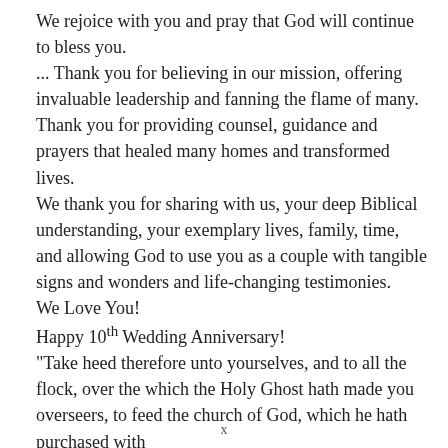We rejoice with you and pray that God will continue to bless you.
... Thank you for believing in our mission, offering invaluable leadership and fanning the flame of many. Thank you for providing counsel, guidance and prayers that healed many homes and transformed lives. We thank you for sharing with us, your deep Biblical understanding, your exemplary lives, family, time, and allowing God to use you as a couple with tangible signs and wonders and life-changing testimonies.
We Love You!
Happy 10th Wedding Anniversary!
“Take heed therefore unto yourselves, and to all the flock, over the which the Holy Ghost hath made you overseers, to feed the church of God, which he hath purchased with
x